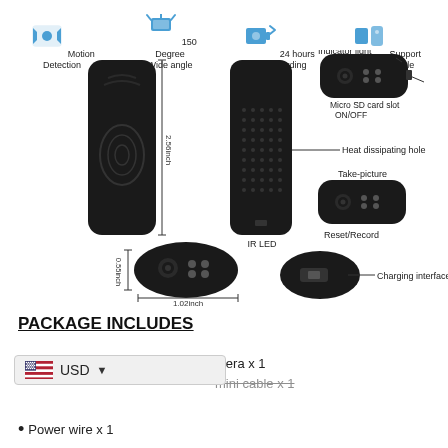[Figure (infographic): Product feature icons row: Motion Detection, 150 Degree Wide angle, 24 hours loop recording, Support Android/Apple]
[Figure (engineering-diagram): Technical diagram of a mini body camera showing multiple views with labeled parts: IR LED, Heat dissipating hole, Indicator light, Micro SD card slot, ON/OFF, Take-picture, Reset/Record, Charging interface. Dimensions shown: 2.56inch height, 0.55inch, 1.02inch width.]
PACKAGE INCLUDES
Camera x 1
mini cable x 1
Power wire x 1